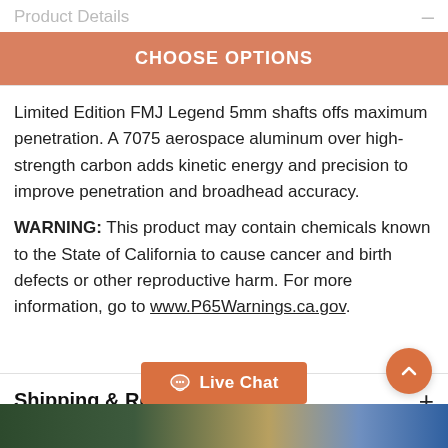Product Details
CHOOSE OPTIONS
Limited Edition FMJ Legend 5mm shafts offs maximum penetration. A 7075 aerospace aluminum over high-strength carbon adds kinetic energy and precision to improve penetration and broadhead accuracy.
WARNING: This product may contain chemicals known to the State of California to cause cancer and birth defects or other reproductive harm. For more information, go to www.P65Warnings.ca.gov.
Shipping & Returns
Live Chat